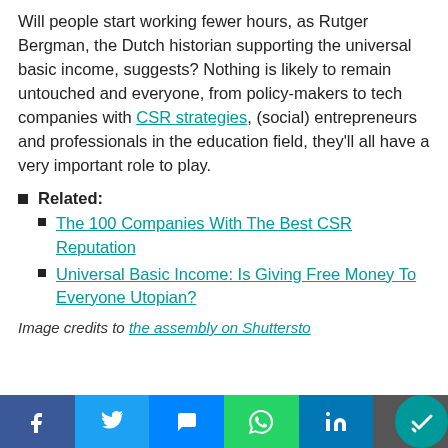Will people start working fewer hours, as Rutger Bergman, the Dutch historian supporting the universal basic income, suggests? Nothing is likely to remain untouched and everyone, from policy-makers to tech companies with CSR strategies, (social) entrepreneurs and professionals in the education field, they'll all have a very important role to play.
Related:
The 100 Companies With The Best CSR Reputation
Universal Basic Income: Is Giving Free Money To Everyone Utopian?
Image credits to the assembly on Shuttersto...